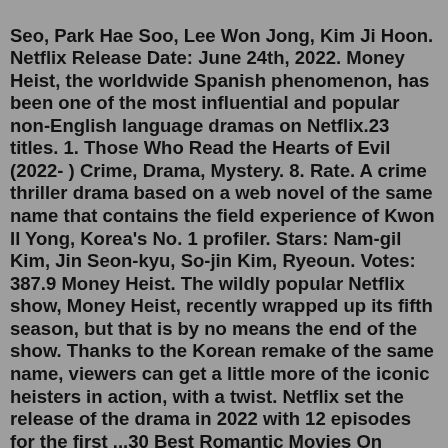Seo, Park Hae Soo, Lee Won Jong, Kim Ji Hoon. Netflix Release Date: June 24th, 2022. Money Heist, the worldwide Spanish phenomenon, has been one of the most influential and popular non-English language dramas on Netflix.23 titles. 1. Those Who Read the Hearts of Evil (2022- ) Crime, Drama, Mystery. 8. Rate. A crime thriller drama based on a web novel of the same name that contains the field experience of Kwon Il Yong, Korea's No. 1 profiler. Stars: Nam-gil Kim, Jin Seon-kyu, So-jin Kim, Ryeoun. Votes: 387.9 Money Heist. The wildly popular Netflix show, Money Heist, recently wrapped up its fifth season, but that is by no means the end of the show. Thanks to the Korean remake of the same name, viewers can get a little more of the iconic heisters in action, with a twist. Netflix set the release of the drama in 2022 with 12 episodes for the first ...30 Best Romantic Movies On Netflix 2022- Love Movies On Netflix. 1. Why Marvel's Karen Gillan Embraces Her Anxiety. 2. Your New Must-Try: Sautéed Dandelion Toast. 3. The Only Marathon